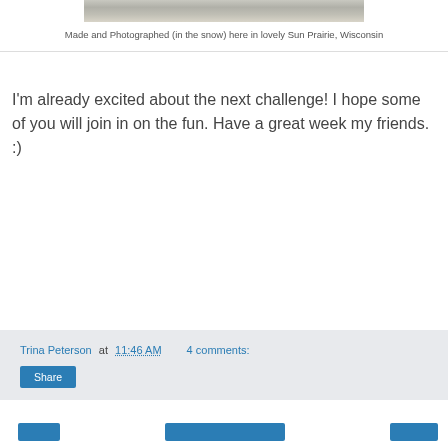[Figure (photo): Partial view of a snowy photograph at top of page]
Made and Photographed (in the snow) here in lovely Sun Prairie, Wisconsin
I'm already excited about the next challenge! I hope some of you will join in on the fun. Have a great week my friends. :)
Trina Peterson at 11:46 AM   4 comments:  Share